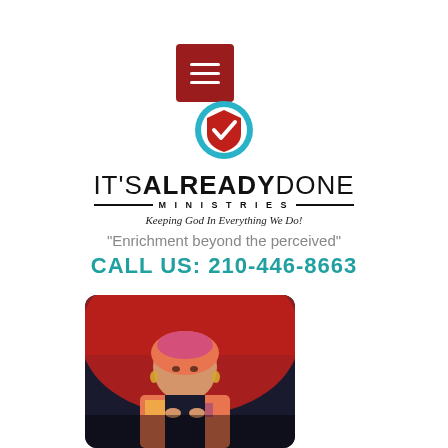[Figure (other): Hamburger menu button - dark red/maroon square with three white horizontal bars]
[Figure (logo): It's Already Done Ministries logo: shield icon with checkmark, text IT'S ALREADY DONE MINISTRIES, tagline Keeping God In Everything We Do!]
“Enrichment beyond the perceived”
CALL US: 210-446-8663
[Figure (photo): Portrait photo of a woman wearing colorful patterned jacket and head wrap, holding something red, looking upward]